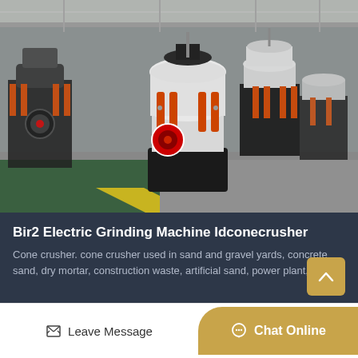[Figure (photo): Factory floor with multiple cone crushers (electric grinding machines). White and black cone crusher units with orange hydraulic cylinders are arranged in rows inside an industrial warehouse with green-painted concrete floor and yellow directional markings.]
Bir2 Electric Grinding Machine Idconecrusher
Cone crusher. cone crusher used in sand and gravel yards, concrete sand, dry mortar, construction waste, artificial sand, power plant,...
May  26